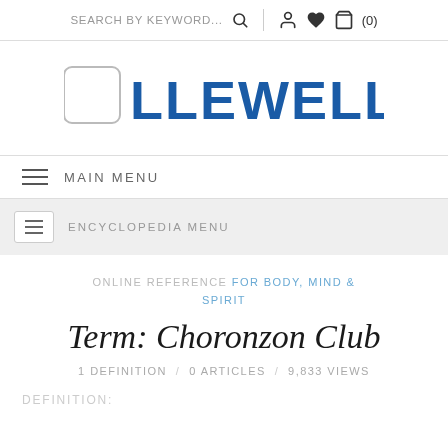SEARCH BY KEYWORD...  🔍 | 👤 ♥ 🛒 (0)
[Figure (logo): Llewellyn logo: crescent moon icon followed by LLEWELLYN in bold blue capital letters]
≡  MAIN MENU
≡  ENCYCLOPEDIA MENU
ONLINE REFERENCE FOR BODY, MIND & SPIRIT
Term: Choronzon Club
1 DEFINITION  /  0 ARTICLES  /  9,833 VIEWS
DEFINITION: